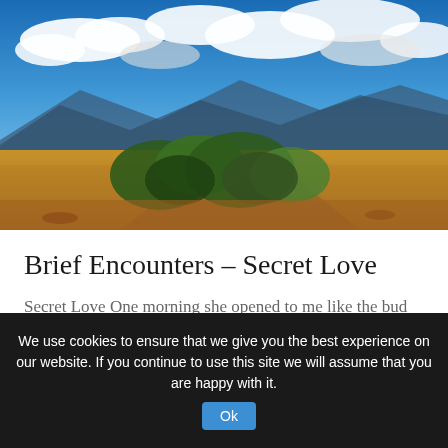[Figure (photo): Landscape photo showing golden fields with green shrubs in the foreground, mountains in the background, and a dramatic blue sky with white clouds]
Brief Encounters – Secret Love
Secret Love One morning she opened to me like the bud of a rose, ready to be admired and yet apprehensive. She kne...
We use cookies to ensure that we give you the best experience on our website. If you continue to use this site we will assume that you are happy with it.